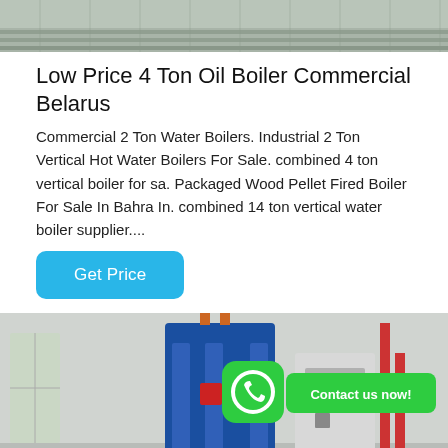[Figure (photo): Top partial photo of industrial boiler or equipment with grating/metal surfaces, cropped at top]
Low Price 4 Ton Oil Boiler Commercial Belarus
Commercial 2 Ton Water Boilers. Industrial 2 Ton Vertical Hot Water Boilers For Sale. combined 4 ton vertical boiler for sa. Packaged Wood Pellet Fired Boiler For Sale In Bahra In. combined 14 ton vertical water boiler supplier....
[Figure (other): Get Price button — rounded rectangular blue button with white text]
[Figure (photo): Industrial boiler room photo showing a large blue vertical boiler unit with red burner, piping, and control panel. WhatsApp icon and green 'Contact us now!' bubble overlay in center.]